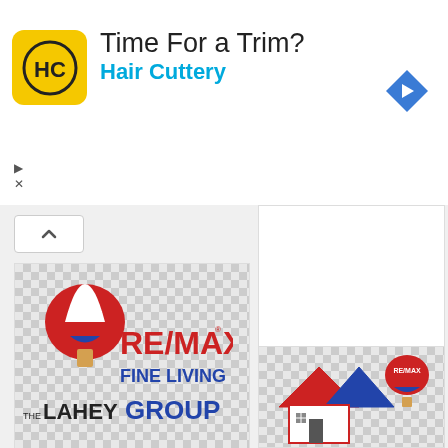[Figure (screenshot): Hair Cuttery advertisement banner with HC logo, 'Time For a Trim?' headline, 'Hair Cuttery' subtitle in blue, and a blue diamond navigation arrow icon on the right]
[Figure (screenshot): Web page screenshot showing image search results for RE/MAX logos. Left card shows 'The Lahey Group - Hot Air Balloon, HD Png Download' with RE/MAX Fine Living logo. Right card shows 'Location - Remax, HD Png Download'. Bottom right shows partial RE/MAX house logo card. View and download counts both show 0.]